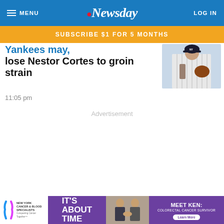MENU | Newsday | LOG IN
SUBSCRIBE $1 FOR 5 MONTHS
Yankees lose Nestor Cortes to groin strain
11:05 pm
[Figure (photo): Yankees pitcher in white pinstripe uniform holding glove]
Advertisement
[Figure (infographic): New York Cancer & Blood Specialists advertisement with purple background showing IT'S ABOUT TIME and MEET KEN: COLORECTAL CANCER SURVIVOR with Learn More button]